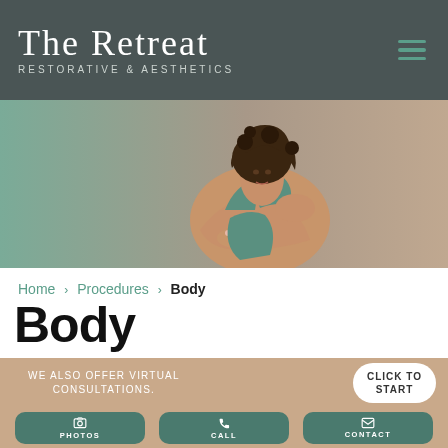THE RETREAT RESTORATIVE & AESTHETICS
[Figure (photo): Professional photo of a young woman with curly hair, resting her arms/chin on her knees, wearing a teal/sage outfit, on a gradient teal-to-tan background]
Home › Procedures › Body
Body
WE ALSO OFFER VIRTUAL CONSULTATIONS.
CLICK TO START
PHOTOS
CALL
CONTACT